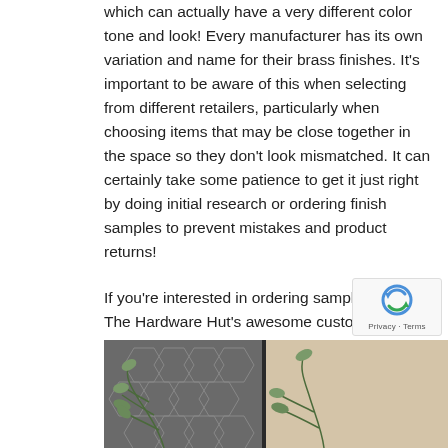which can actually have a very different color tone and look! Every manufacturer has its own variation and name for their brass finishes. It's important to be aware of this when selecting from different retailers, particularly when choosing items that may be close together in the space so they don't look mismatched. It can certainly take some patience to get it just right by doing initial research or ordering finish samples to prevent mistakes and product returns!
If you're interested in ordering samples, contact The Hardware Hut's awesome customer service team, and they can help you out, (800) 708-6649. Some brands offer free or discounted samples, while others do not.
[Figure (photo): Photo of a decorative scene with eucalyptus plants and geometric patterned tile in the background, partially shown at the bottom of the page]